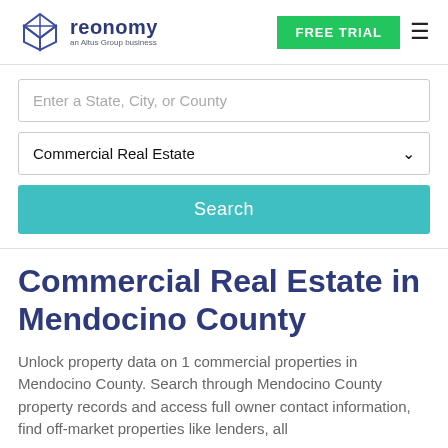[Figure (logo): Reonomy logo with geometric diamond icon and text 'reonomy an Altus Group business']
FREE TRIAL
Enter a State, City, or County
Commercial Real Estate
Search
Commercial Real Estate in Mendocino County
Unlock property data on 1 commercial properties in Mendocino County. Search through Mendocino County property records and access full owner contact information, find off-market properties like lenders, all